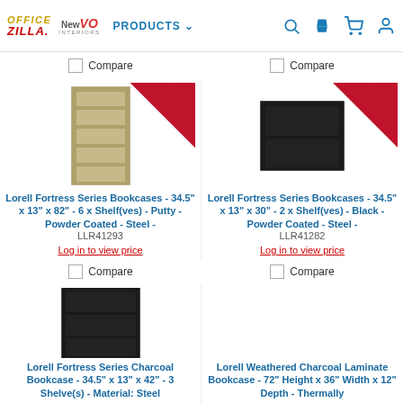OfficeZilla / NewVO Interiors — PRODUCTS navigation with search, phone, cart, user icons
Compare
Compare
[Figure (photo): Lorell Fortress Series Bookcase - putty/beige color, 6-shelf tall metal bookcase]
[Figure (photo): Lorell Fortress Series Bookcase - black color, 2-shelf short metal bookcase]
Lorell Fortress Series Bookcases - 34.5" x 13" x 82" - 6 x Shelf(ves) - Putty - Powder Coated - Steel -
LLR41293
Lorell Fortress Series Bookcases - 34.5" x 13" x 30" - 2 x Shelf(ves) - Black - Powder Coated - Steel -
LLR41282
Log in to view price
Log in to view price
Compare
Compare
[Figure (photo): Lorell Fortress Series Charcoal Bookcase - 34.5" x 13" x 42" - 3 shelf black metal bookcase]
Lorell Fortress Series Charcoal Bookcase - 34.5" x 13" x 42" - 3 Shelve(s) - Material: Steel
Lorell Weathered Charcoal Laminate Bookcase - 72" Height x 36" Width x 12" Depth - Thermally